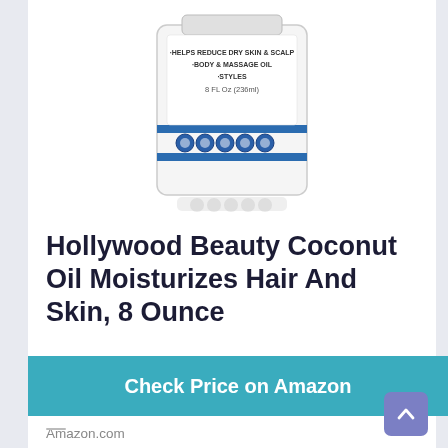[Figure (photo): Product photo of Hollywood Beauty Coconut Oil bottle, white/clear container with blue stripes and blue decorative circles, label reads: HELPS REDUCE DRY SKIN & SCALP, BODY & MASSAGE OIL, STYLES, 8 FL Oz (236ml)]
Hollywood Beauty Coconut Oil Moisturizes Hair And Skin, 8 Ounce
Check Price on Amazon
Amazon.com
as of February 16, 2022 8:32 AM ℹ